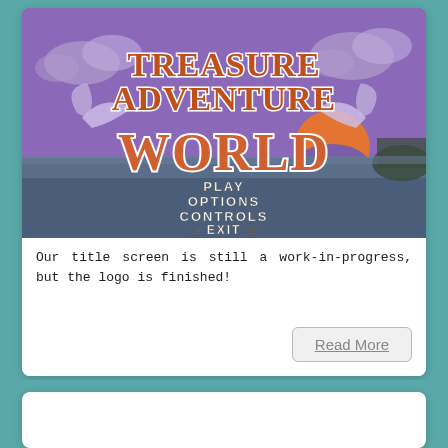[Figure (screenshot): Treasure Adventure World game title screen showing the game logo with orange/brown lettering on a purple sunset background with ocean, clouds, and menu options: PLAY, OPTIONS, CONTROLS, EXIT]
Our title screen is still a work-in-progress, but the logo is finished!
Read More